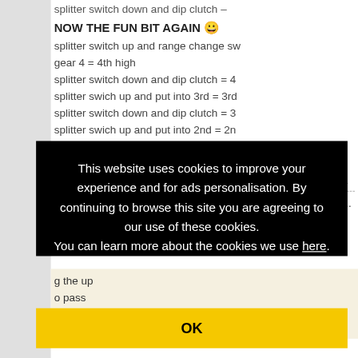splitter switch down and dip clutch –
NOW THE FUN BIT AGAIN 😀
splitter switch up and range change sw
gear 4 = 4th high
splitter switch down and dip clutch = 4
splitter swich up and put into 3rd = 3rd
splitter switch down and dip clutch = 3
splitter swich up and put into 2nd = 2n
splitter switch down and dip clutch = 2
splitter swich up and put into 1st = 1st
tch = 1
nt..........
g the up
o pass
Our company held on to two rus
This website uses cookies to improve your experience and for ads personalisation. By continuing to browse this site you are agreeing to our use of these cookies.
You can learn more about the cookies we use here.
OK